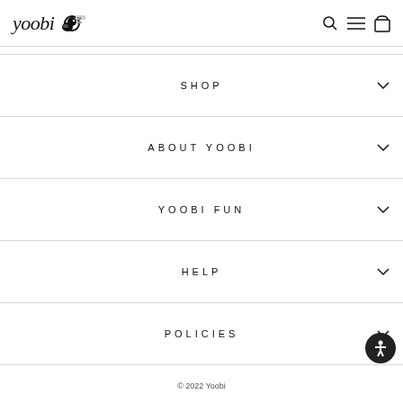yoobi [logo with bird icon] — navigation icons: search, menu, cart
SHOP
ABOUT YOOBI
YOOBI FUN
HELP
POLICIES
© 2022 Yoobi